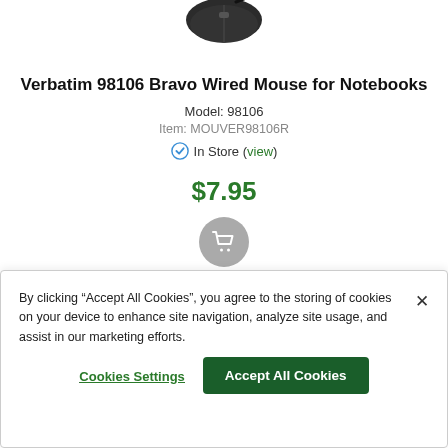[Figure (photo): Partial view of a black wired computer mouse from above, showing the top/front portion with a cable]
Verbatim 98106 Bravo Wired Mouse for Notebooks
Model: 98106
Item: MOUVER98106R
✓ In Store (view)
$7.95
[Figure (illustration): Gray circular shopping cart button icon]
By clicking “Accept All Cookies”, you agree to the storing of cookies on your device to enhance site navigation, analyze site usage, and assist in our marketing efforts.
Cookies Settings
Accept All Cookies